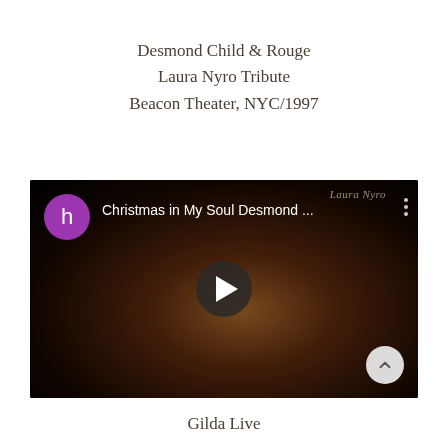Desmond Child & Rouge
Laura Nyro Tribute
Beacon Theater, NYC/1997
[Figure (screenshot): YouTube video thumbnail showing 'Christmas in My Soul Desmond ...' with a Laura Nyro album cover image (woman's face in warm tones), a purple avatar circle with 'h', a play button in the center, and a scroll-up button in the bottom right corner.]
Gilda Live